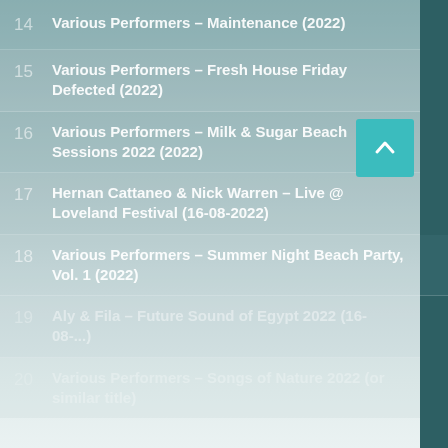14  Various Performers – Maintenance (2022)
15  Various Performers – Fresh House Friday Defected (2022)
16  Various Performers – Milk & Sugar Beach Sessions 2022 (2022)
17  Hernan Cattaneo & Nick Warren – Live @ Loveland Festival (16-08-2022)
18  Various Performers – Summer Night Beach Party, Vol. 1 (2022)
19  Aly & Fila – Future Sound of Egypt 2022 (16-04-08-...)
20  Various Performers – Songs of Nature 2022 (or similar title)